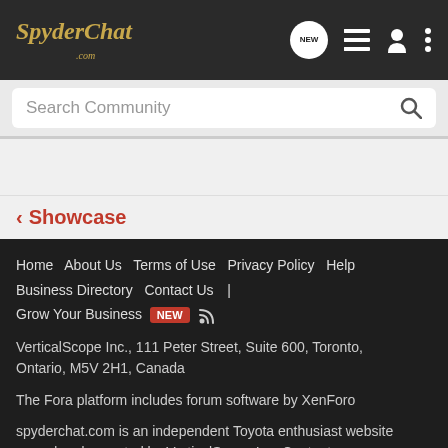SpyderChat.com
Search Community
< Showcase
Home   About Us   Terms of Use   Privacy Policy   Help   Business Directory   Contact Us   |   Grow Your Business   NEW
VerticalScope Inc., 111 Peter Street, Suite 600, Toronto, Ontario, M5V 2H1, Canada
The Fora platform includes forum software by XenForo
spyderchat.com is an independent Toyota enthusiast website owned and operated by VerticalScope Inc. Content on spyderchat.com is generated by its users. spyderchat.com is not